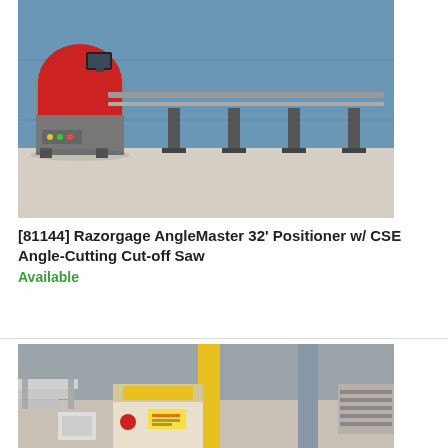[Figure (photo): Photo of a Razorgage AngleMaster 32-foot positioner with CSE angle-cutting cut-off saw. The machine has a red and grey body on the left with a monitor on top, and a long grey rail/track extending to the right supported by several black metal legs, set in an industrial facility with blue walls and concrete floor.]
[81144] Razorgage AngleMaster 32' Positioner w/ CSE Angle-Cutting Cut-off Saw
Available
[Figure (photo): Photo of industrial cutting equipment showing a yellow and grey cut-off saw machine with safety guards, conveyor rollers on the right, metal stairs/platform on the left, and yellow safety pillars in the background.]